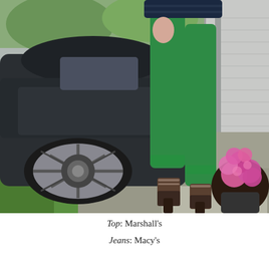[Figure (photo): A person from the waist down wearing bright green cropped jeans, a dark navy striped top, a brown belt, and strappy wedge heels. They are standing on a driveway next to a dark gray car with alloy wheels. Green lawn and pink flowers in a pot are visible in the background.]
Top: Marshall's
Jeans: Macy's